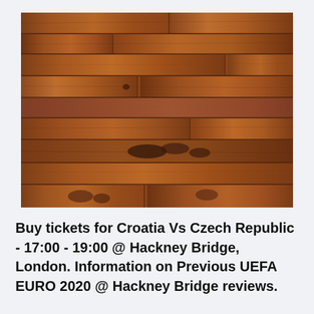[Figure (photo): Close-up photo of a wooden plank wall/floor with warm brown tones, visible wood grain, knots, and natural markings across horizontal planks.]
Buy tickets for Croatia Vs Czech Republic - 17:00 - 19:00 @ Hackney Bridge, London. Information on Previous UEFA EURO 2020 @ Hackney Bridge reviews.